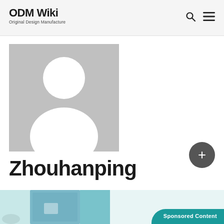ODM Wiki
Original Design Manufacture
[Figure (illustration): Default user avatar placeholder: grey square background with white silhouette of a person (circle head, rounded shoulders)]
Zhouhanping
[Figure (infographic): Bottom banner with partial images and a teal 'Sponsored Content' badge in the bottom right]